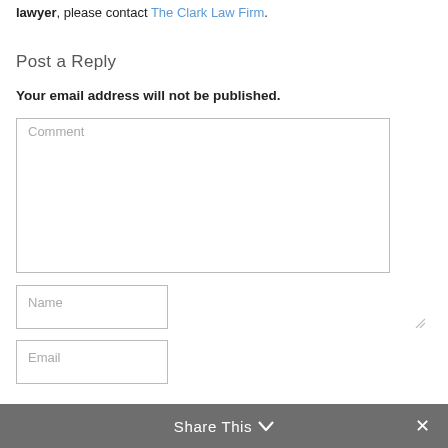lawyer, please contact The Clark Law Firm.
Post a Reply
Your email address will not be published.
[Figure (other): Comment text area input field with placeholder text 'Comment' and resize handle]
[Figure (other): Name input field with placeholder text 'Name']
[Figure (other): Email input field with placeholder text 'Email']
Share This ∨  ×